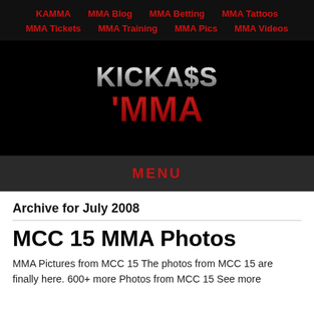KAMMA | MMA Blog | MMA Betting | MMA Tattoos | MMA Tickets | MMA Training | MMA Pics | MMA Videos
[Figure (logo): KickAss MMA logo with metallic text style]
MENU
Archive for July 2008
MCC 15 MMA Photos
MMA Pictures from MCC 15 The photos from MCC 15 are finally here. 600+ more Photos from MCC 15 See more